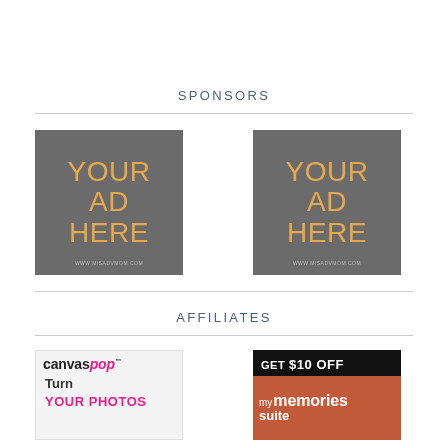SPONSORS
[Figure (illustration): Ad placeholder box with gray background, orange text 'YOUR AD HERE' and URL www.misadvmom.com]
[Figure (illustration): Ad placeholder box with gray background, orange text 'YOUR AD HERE' and URL www.misadvmom.com]
AFFILIATES
[Figure (logo): CanvasPop affiliate ad showing logo and text 'Turn YOUR PHOTOS']
[Figure (illustration): My Memories Suite affiliate ad: 'GET $10 OFF' on black background with orange/red brand block]